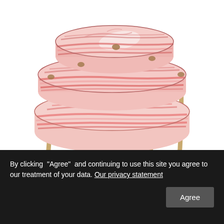[Figure (illustration): A hand-drawn illustration of stacked cuts of layered pork belly or bacon slabs, showing pink and white marbled fat and meat layers, impaled on several wooden skewers or sticks arranged below.]
By clicking “Agree” and continuing to use this site you agree to our treatment of your data. Our privacy statement